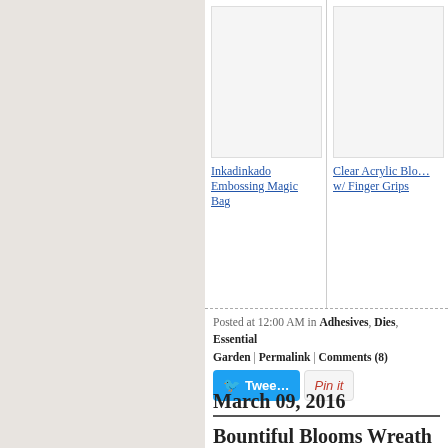[Figure (other): Product image placeholder for Inkadinkado Embossing Magic Bag]
Inkadinkado Embossing Magic Bag
[Figure (other): Product image placeholder for Clear Acrylic Block w/ Finger Grips]
Clear Acrylic Block w/ Finger Grips
Posted at 12:00 AM in Adhesives, Dies, Essential Garden | Permalink | Comments (8)
[Figure (other): Tweet button and Pin it button social sharing widgets]
March 09, 2016
Bountiful Blooms Wreath b…
Good Wednesday morning and w… love the whimsical floral and folia… Studio Bountiful Blooms and thou… into a colorful spring wreath agai… framed my wreath with the Impre… Frames Squares 2 set and create… Memory Keepers Nesting Squares…